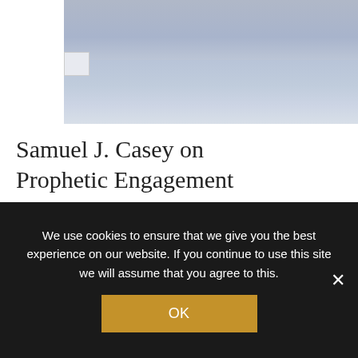[Figure (photo): Partial photo of a man in a blue shirt with a grey beard, cropped at the top of the page]
Samuel J. Casey on Prophetic Engagement
Dialogues, Fuller Dialogues
Samuel J. Casey, pastor of New Life Christian Church and executive director of Congregations Organized for Prophetic Engagement, speaks about
We use cookies to ensure that we give you the best experience on our website. If you continue to use this site we will assume that you agree to this.
OK